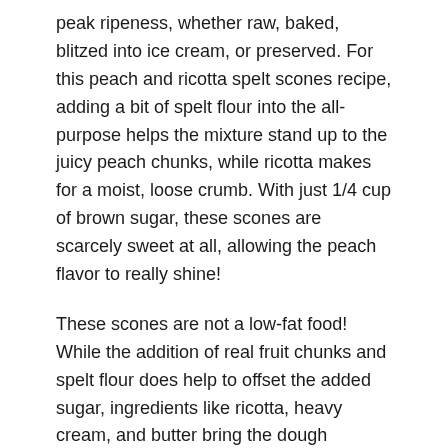peak ripeness, whether raw, baked, blitzed into ice cream, or preserved. For this peach and ricotta spelt scones recipe, adding a bit of spelt flour into the all-purpose helps the mixture stand up to the juicy peach chunks, while ricotta makes for a moist, loose crumb. With just 1/4 cup of brown sugar, these scones are scarcely sweet at all, allowing the peach flavor to really shine!
These scones are not a low-fat food! While the addition of real fruit chunks and spelt flour does help to offset the added sugar, ingredients like ricotta, heavy cream, and butter bring the dough together. Fat content aside, these scones are fun to bake and a treat to eat.
What is Spelt Flour?
If you are a seasoned baker, you understand different flours tend to behave…differently. Some have higher